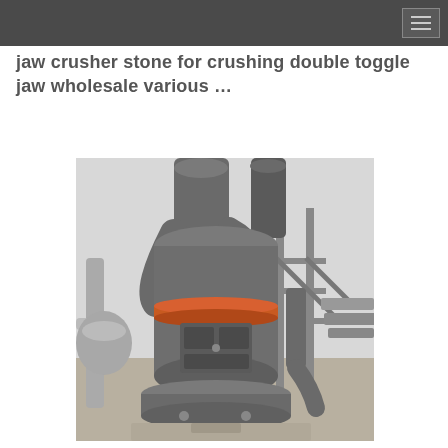jaw crusher stone for crushing double toggle jaw wholesale various …
[Figure (photo): Industrial grinding mill machine installed in a factory setting. The machine is a large cylindrical vertical mill with grey metal body, orange accent ring, intake pipes at the top, and a heavy circular base. Background shows industrial facility with structural steel framework and conveyor equipment.]